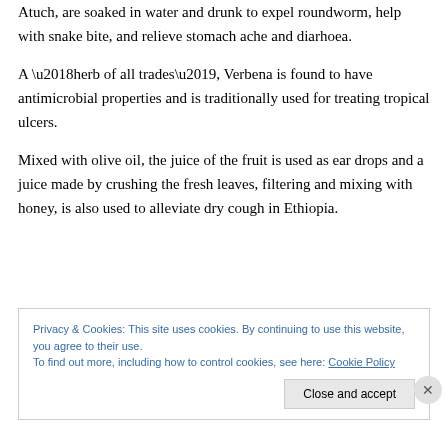Atuch, are soaked in water and drunk to expel roundworm, help with snake bite, and relieve stomach ache and diarhoea.
A ‘herb of all trades’, Verbena is found to have antimicrobial properties and is traditionally used for treating tropical ulcers.
Mixed with olive oil, the juice of the fruit is used as ear drops and a juice made by crushing the fresh leaves, filtering and mixing with honey, is also used to alleviate dry cough in Ethiopia.
Privacy & Cookies: This site uses cookies. By continuing to use this website, you agree to their use. To find out more, including how to control cookies, see here: Cookie Policy